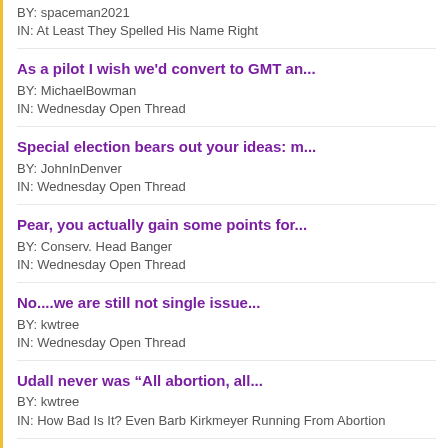BY: spaceman2021
IN: At Least They Spelled His Name Right
As a pilot I wish we'd convert to GMT an...
BY: MichaelBowman
IN: Wednesday Open Thread
Special election bears out your ideas: m...
BY: JohnInDenver
IN: Wednesday Open Thread
Pear, you actually gain some points for...
BY: Conserv. Head Banger
IN: Wednesday Open Thread
No....we are still not single issue...
BY: kwtree
IN: Wednesday Open Thread
Udall never was “All abortion, all...
BY: kwtree
IN: How Bad Is It? Even Barb Kirkmeyer Running From Abortion
Do you mean to say there’s no compou...
BY: ajb